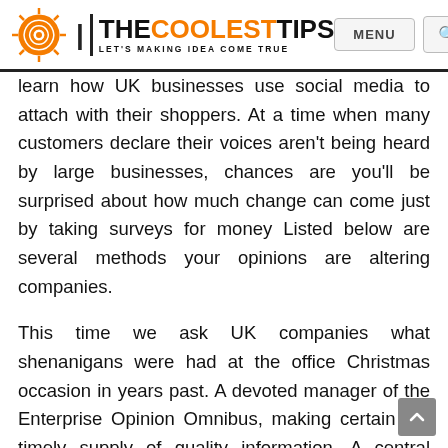[Figure (logo): TheCoolestTips website logo with orange spiral icon and tagline LET'S MAKING IDEA COME TRUE, with MENU button and search icon in the header]
learn how UK businesses use social media to attach with their shoppers. At a time when many customers declare their voices aren't being heard by large businesses, chances are you'll be surprised about how much change can come just by taking surveys for money Listed below are several methods your opinions are altering companies.
This time we ask UK companies what shenanigans were had at the office Christmas occasion in years past. A devoted manager of the Enterprise Opinion Omnibus, making certain the timely supply of quality information. A central theme of the arguments – on each side of the desk – has been